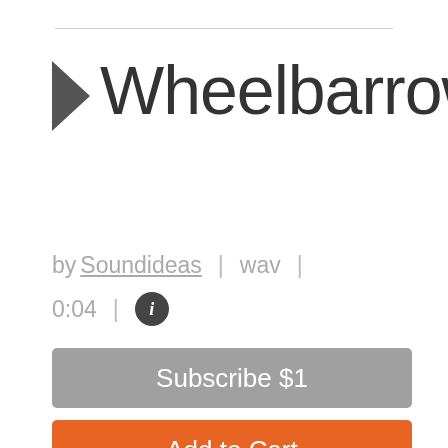▶ Wheelbarrow
by Soundideas | wav | 0:04 | ℹ
Subscribe $1
Add to Cart